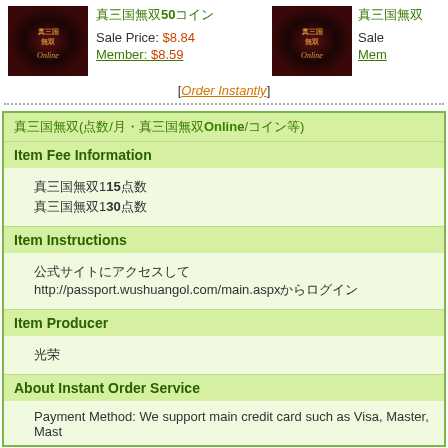[Figure (photo): Product image for game (真三国無双Online) showing dark red/black game cover art]
真三国無双Online 50コイン
Sale Price: $8.84
Member: $8.59
[Order Instantly]
[Figure (photo): Second product image for game (真三国無双Online) showing dark red/black game cover art]
Sale
Mem
真三国無双(点数/月・真三国無双Online/コイン等)
Item Fee Information
点数プラン15点数
点数プラン30点数
Item Instructions
公式サイトにアクセスしてhttp://passport.wushuangol.com/main.aspxからログイン
Item Producer
光荣
About Instant Order Service
Payment Method:  We support main credit card such as Visa, Master, Mast